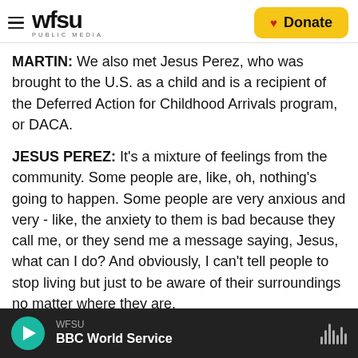WFSU PUBLIC MEDIA | Donate
MARTIN: We also met Jesus Perez, who was brought to the U.S. as a child and is a recipient of the Deferred Action for Childhood Arrivals program, or DACA.
JESUS PEREZ: It's a mixture of feelings from the community. Some people are, like, oh, nothing's going to happen. Some people are very anxious and very - like, the anxiety to them is bad because they call me, or they send me a message saying, Jesus, what can I do? And obviously, I can't tell people to stop living but just to be aware of their surroundings no matter where they are.
WFSU BBC World Service